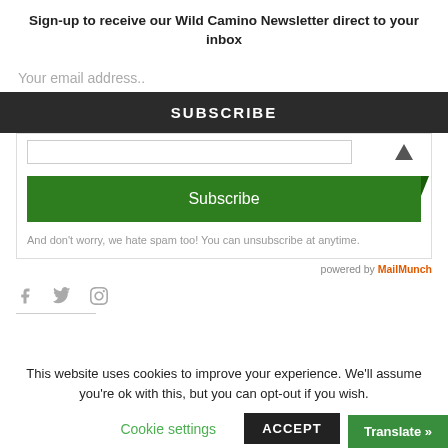Sign-up to receive our Wild Camino Newsletter direct to your inbox
Your email address..
SUBSCRIBE
Subscribe
And don't worry, we hate spam too! You can unsubscribe at anytime.
powered by MailMunch
This website uses cookies to improve your experience. We'll assume you're ok with this, but you can opt-out if you wish.
Cookie settings
ACCEPT
Translate »